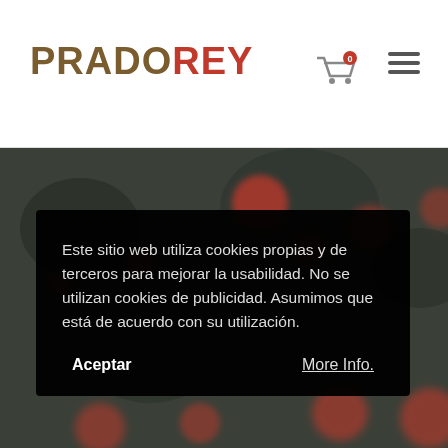[Figure (logo): PRADOREY logo with PRADO in dark brown/tan and REY in red, top-left of white header bar]
[Figure (screenshot): Website header with cart icon (0 items) and hamburger menu icon on the right side of the white header bar]
[Figure (photo): Dark blurred background image with out-of-focus red/orange circular bokeh shapes against a dark green-grey background]
Este sitio web utiliza cookies propias y de terceros para mejorar la usabilidad. No se utilizan cookies de publicidad. Asumimos que está de acuerdo con su utilización.
Aceptar
More Info.